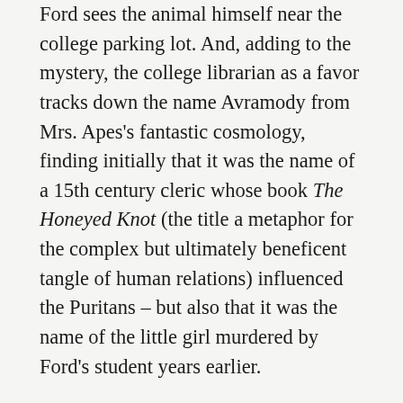Ford sees the animal himself near the college parking lot. And, adding to the mystery, the college librarian as a favor tracks down the name Avramody from Mrs. Apes's fantastic cosmology, finding initially that it was the name of a 15th century cleric whose book The Honeyed Knot (the title a metaphor for the complex but ultimately beneficent tangle of human relations) influenced the Puritans – but also that it was the name of the little girl murdered by Ford's student years earlier.
I've spent a bit more time describing this story because it seems to me to centrally concern some of the issues at the heart of this discussion, and because it specifically addresses